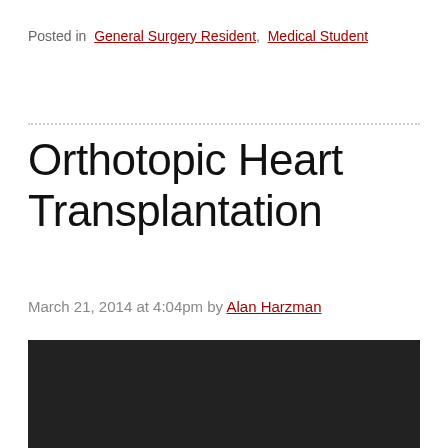Posted in  General Surgery Resident,  Medical Student
Orthotopic Heart Transplantation
March 21, 2014 at 4:04pm by Alan Harzman
[Figure (photo): Dark/black video embed area]